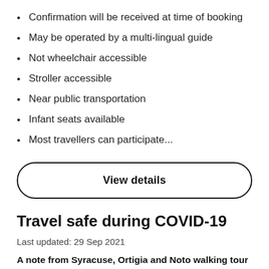Confirmation will be received at time of booking
May be operated by a multi-lingual guide
Not wheelchair accessible
Stroller accessible
Near public transportation
Infant seats available
Most travellers can participate...
View details
Travel safe during COVID-19
Last updated: 29 Sep 2021
A note from Syracuse, Ortigia and Noto walking tour from Catania
You can rest assured we of fully registrations are for